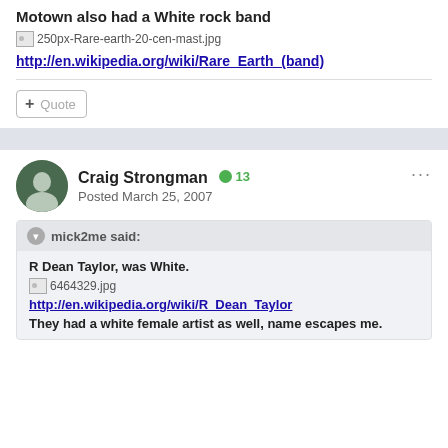Motown also had a White rock band
[Figure (photo): Image placeholder: 250px-Rare-earth-20-cen-mast.jpg]
http://en.wikipedia.org/wiki/Rare_Earth_(band)
+ Quote
Craig Strongman +13
Posted March 25, 2007
mick2me said:
R Dean Taylor, was White.
[Figure (photo): Image placeholder: 6464329.jpg]
http://en.wikipedia.org/wiki/R_Dean_Taylor
They had a white female artist as well, name escapes me.